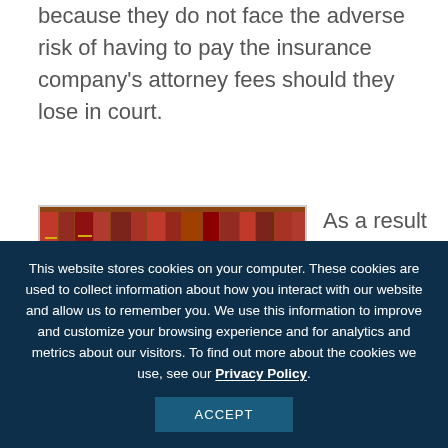because they do not face the adverse risk of having to pay the insurance company's attorney fees should they lose in court.
[Figure (photo): Photo of a wooden judge's gavel resting on a sound block, with law books visible in the blurred background. Warm brown tones.]
As a result of AOB, insurance
This website stores cookies on your computer. These cookies are used to collect information about how you interact with our website and allow us to remember you. We use this information to improve and customize your browsing experience and for analytics and metrics about our visitors. To find out more about the cookies we use, see our Privacy Policy.